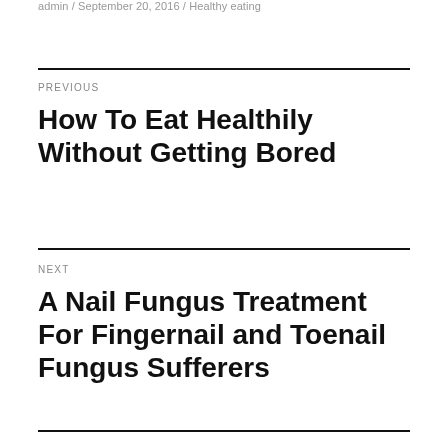admin / September 20, 2016 / Healthy eating
PREVIOUS
How To Eat Healthily Without Getting Bored
NEXT
A Nail Fungus Treatment For Fingernail and Toenail Fungus Sufferers